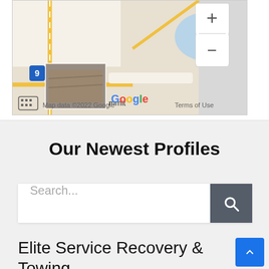[Figure (screenshot): Google Maps screenshot showing a partial map view with zoom controls (+/-), Google branding, 'Map data ©2022 Google', 'Terms of Use', a road with yellow lines, and a small thumbnail photo overlay. A blue highway marker with '9' is visible.]
Our Newest Profiles
Search...
Elite Service Recovery & Towing
Towing service